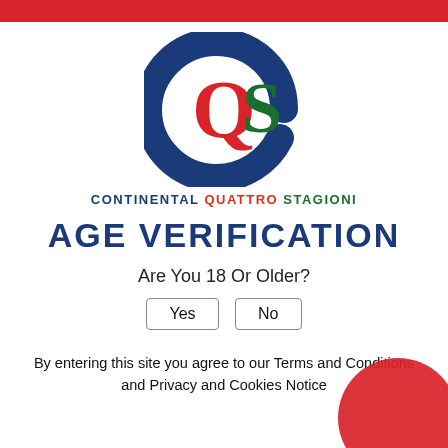[Figure (logo): CQS Continental Quattro Stagioni logo: large blue C shape, red Q letter, green S letter]
CONTINENTAL QUATTRO STAGIONI
AGE VERIFICATION
Are You 18 Or Older?
Yes   No
By entering this site you agree to our Terms and Conditions and Privacy and Cookies Notice